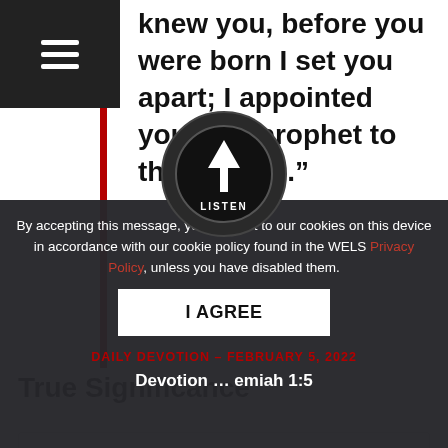knew you, before you were born I set you apart; I appointed you as a prophet to the nations.”
Jeremiah 1:5
True Significance
[Figure (other): Audio listen button/icon (circular dark icon with upward arrow and 'LISTEN' label)]
By accepting this message, you consent to our cookies on this device in accordance with our cookie policy found in the WELS Privacy Policy, unless you have disabled them.
I AGREE
DAILY DEVOTION – FEBRUARY 5, 2022
Devotion … emiah 1:5